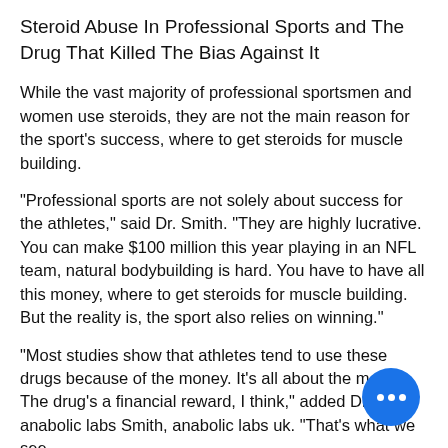Steroid Abuse In Professional Sports and The Drug That Killed The Bias Against It
While the vast majority of professional sportsmen and women use steroids, they are not the main reason for the sport's success, where to get steroids for muscle building.
"Professional sports are not solely about success for the athletes," said Dr. Smith. "They are highly lucrative. You can make $100 million this year playing in an NFL team, natural bodybuilding is hard. You have to have all this money, where to get steroids for muscle building. But the reality is, the sport also relies on winning."
"Most studies show that athletes tend to use these drugs because of the money. It's all about the money. The drug's a financial reward, I think," added Dr, anabolic labs Smith, anabolic labs uk. "That's what we see